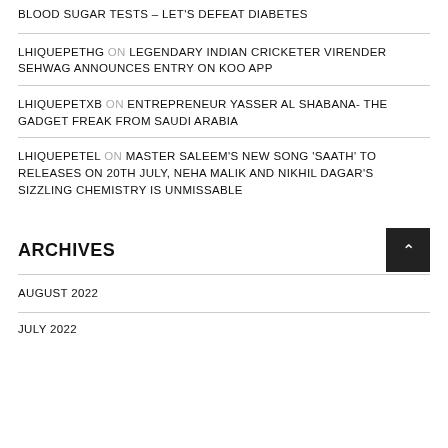BLOOD SUGAR TESTS – LET'S DEFEAT DIABETES
LHIQUEPETHG ON LEGENDARY INDIAN CRICKETER VIRENDER SEHWAG ANNOUNCES ENTRY ON KOO APP
LHIQUEPETXB ON ENTREPRENEUR YASSER AL SHABANA- THE GADGET FREAK FROM SAUDI ARABIA
LHIQUEPETEL ON MASTER SALEEM'S NEW SONG 'SAATH' TO RELEASES ON 20TH JULY, NEHA MALIK AND NIKHIL DAGAR'S SIZZLING CHEMISTRY IS UNMISSABLE
ARCHIVES
AUGUST 2022
JULY 2022